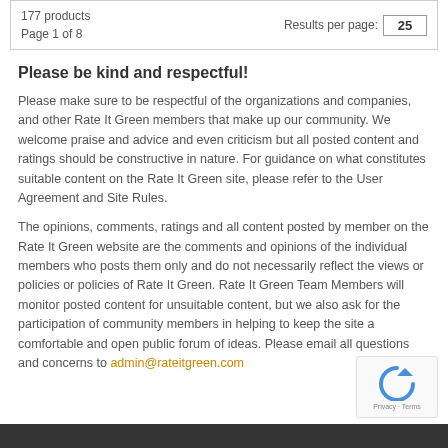177 products
Page 1 of 8
Results per page: 25
Please be kind and respectful!
Please make sure to be respectful of the organizations and companies, and other Rate It Green members that make up our community. We welcome praise and advice and even criticism but all posted content and ratings should be constructive in nature. For guidance on what constitutes suitable content on the Rate It Green site, please refer to the User Agreement and Site Rules.
The opinions, comments, ratings and all content posted by member on the Rate It Green website are the comments and opinions of the individual members who posts them only and do not necessarily reflect the views or policies or policies of Rate It Green. Rate It Green Team Members will monitor posted content for unsuitable content, but we also ask for the participation of community members in helping to keep the site a comfortable and open public forum of ideas. Please email all questions and concerns to admin@rateitgreen.com